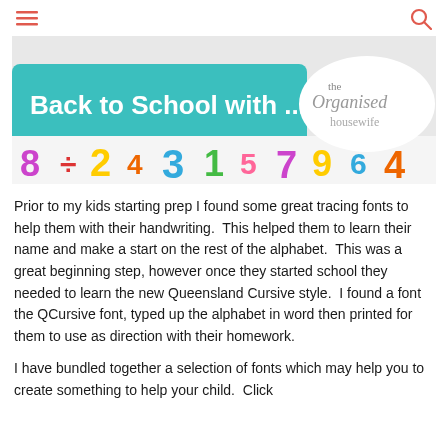navigation header with hamburger menu and search icon
[Figure (illustration): Back to School banner image with colourful numbers/letters on teal background and 'the Organised housewife' script logo]
Prior to my kids starting prep I found some great tracing fonts to help them with their handwriting.  This helped them to learn their  name and make a start on the rest of the alphabet.  This was a great beginning step, however once they started school they needed to learn the new Queensland Cursive style.  I found a font the QCursive font, typed up the alphabet in word then printed for them to use as direction with their homework.
I have bundled together a selection of fonts which may help you to create something to help your child.  Click